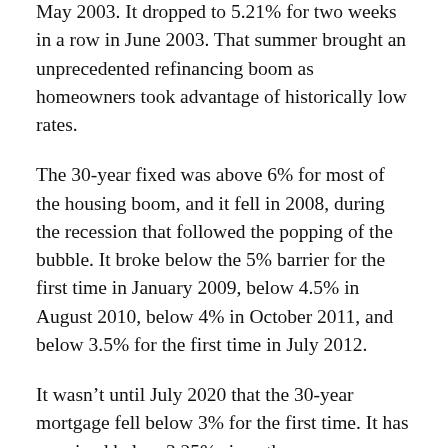May 2003. It dropped to 5.21% for two weeks in a row in June 2003. That summer brought an unprecedented refinancing boom as homeowners took advantage of historically low rates.
The 30-year fixed was above 6% for most of the housing boom, and it fell in 2008, during the recession that followed the popping of the bubble. It broke below the 5% barrier for the first time in January 2009, below 4.5% in August 2010, below 4% in October 2011, and below 3.5% for the first time in July 2012.
It wasn't until July 2020 that the 30-year mortgage fell below 3% for the first time. It has remained below 3.25% since then.
In the 50-year history of Freddie Mac's weekly survey, the 30-year fixed has been below 3.5% for 105 weeks, as of April 29, 2021. Two years and one week, or 4% of the survey life. Some have attributed this above-average stretch to the extraordinary monetary policy measures taken in response to the COVID-19 pandemic.